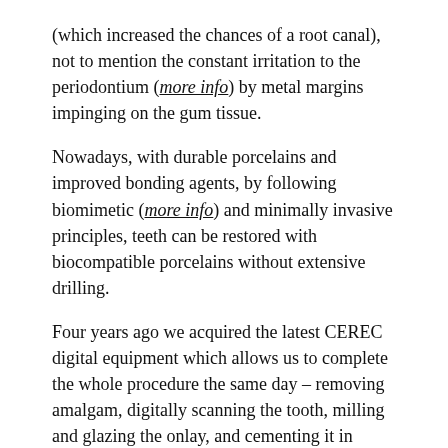(which increased the chances of a root canal), not to mention the constant irritation to the periodontium (more info) by metal margins impinging on the gum tissue.
Nowadays, with durable porcelains and improved bonding agents, by following biomimetic (more info) and minimally invasive principles, teeth can be restored with biocompatible porcelains without extensive drilling.
Four years ago we acquired the latest CEREC digital equipment which allows us to complete the whole procedure the same day – removing amalgam, digitally scanning the tooth, milling and glazing the onlay, and cementing it in place. No temporaries, no second shots, no two-hour commutes for a second visit.
For more on CEREC technology, read the article How To Get Your Crown The Same Day.